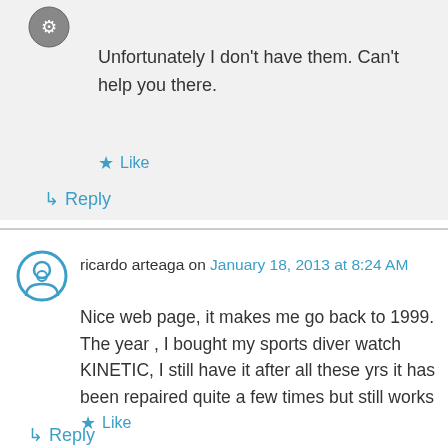Unfortunately I don't have them. Can't help you there.
★ Like
↳ Reply
ricardo arteaga on January 18, 2013 at 8:24 AM
Nice web page, it makes me go back to 1999. The year , I bought my sports diver watch KINETIC, I still have it after all these yrs it has been repaired quite a few times but still works
★ Like
↳ Reply